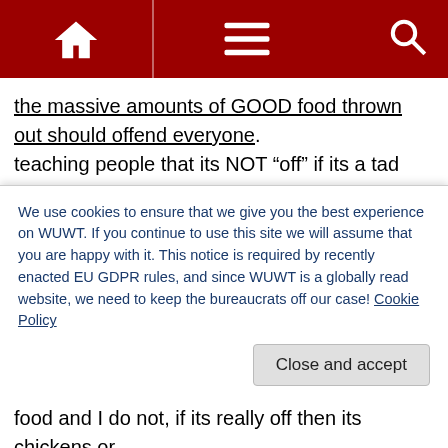Navigation bar with home, menu, and search icons
the massive amounts of GOOD food thrown out should offend everyone. teaching people that its NOT “off” if its a tad less than perfect crisp and perfect shaped would be a wise thing. Truth is a lot of less than perfectly formed attractive foods(,that for some reason( HA! advertising) everyone thinks are the aim in perfection, are better.. perfect huge waterladen and chemically forced fruits are for the most part also tasteless and lower in nutrition than a smaller hardier more naturally grown product even one using
We use cookies to ensure that we give you the best experience on WUWT. If you continue to use this site we will assume that you are happy with it. This notice is required by recently enacted EU GDPR rules, and since WUWT is a globally read website, we need to keep the bureaucrats off our case! Cookie Policy
food and I do not, if its really off then its chickens or